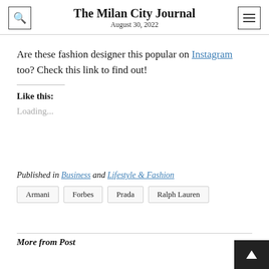The Milan City Journal
August 30, 2022
Are these fashion designer this popular on Instagram too? Check this link to find out!
Like this:
Loading...
Published in Business and Lifestyle & Fashion
Armani
Forbes
Prada
Ralph Lauren
More from Post